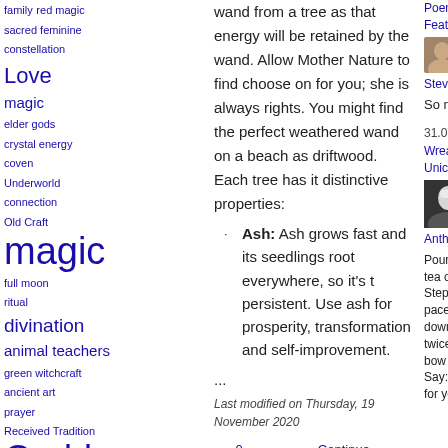family red magic sacred feminine constellation Love magic elder gods crystal energy coven Underworld connection Old Craft magic full moon ritual divination animal teachers green witchcraft ancient art prayer Received Tradition Godd empowerment Crete Recipe kitchen witchery demeter charging stones and
wand from a tree as that energy will be retained by the wand. Allow Mother Nature to find choose on for you; she is always rights. You might find the perfect weathered wand on a beach as driftwood. Each tree has it distinctive properties:
Ash: Ash grows fast and its seedlings root everywhere, so it's t persistent. Use ash for prosperity, transformation and self-improvement.
...
Last modified on Thursday, 19 November 2020
0 Comments | Continue reading
Tweet
Poem: Finding Feathers
Steven Posch
So mote it be.
31.07.2022
Wreath or Unicorn?
Anthony Gresham
Pour a jar of mint tea over the stone. Step back two paces and set down the jar, bow twice, clap twice, bow once again. Say: "Thank you for your